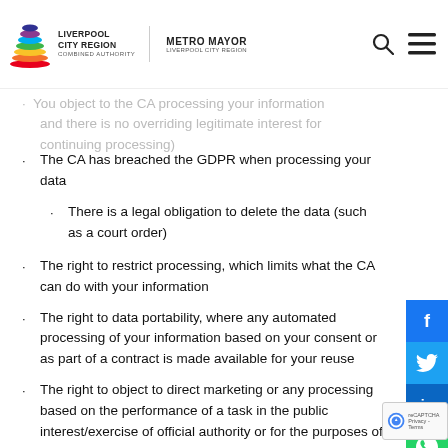Liverpool City Region Combined Authority | Metro Mayor Liverpool City Region
You object to the CA processing your information and there is no overriding legitimate interest for continuing processing
The CA has breached the GDPR when processing your data
There is a legal obligation to delete the data (such as a court order)
The right to restrict processing, which limits what the CA can do with your information
The right to data portability, where any automated processing of your information based on your consent or as part of a contract is made available for your reuse
The right to object to direct marketing or any processing based on the performance of a task in the public interest/exercise of official authority or for the purposes of scientific/historical research and statistics.
Rights in relation to automated decision making and profiling, where a decision made by a computer has a legal or significant effect on you.